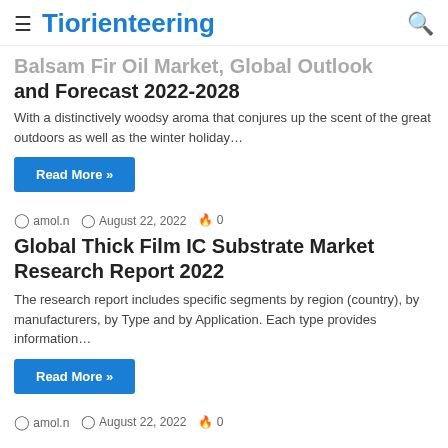≡ Tiorienteering 🔍
Balsam Fir Oil Market, Global Outlook and Forecast 2022-2028
With a distinctively woodsy aroma that conjures up the scent of the great outdoors as well as the winter holiday…
Read More »
amol.n  August 22, 2022  🔥 0
Global Thick Film IC Substrate Market Research Report 2022
The research report includes specific segments by region (country), by manufacturers, by Type and by Application. Each type provides information…
Read More »
amol.n  August 22, 2022  🔥 0